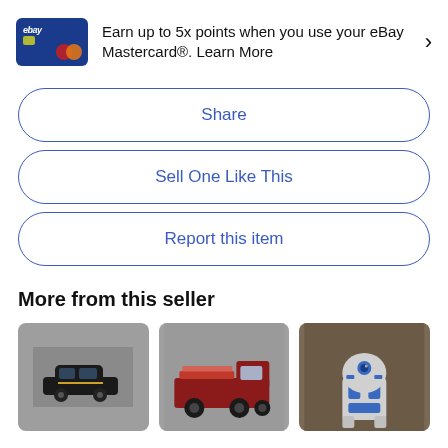[Figure (infographic): eBay Mastercard credit card image (blue card with eBay logo and Mastercard symbol)]
Earn up to 5x points when you use your eBay Mastercard®. Learn More
Share
Sell One Like This
Report this item
More from this seller
[Figure (photo): Small toy car (black with gold design) on gray carpet]
[Figure (photo): Small red toy truck/fire engine on gray carpet]
[Figure (photo): R2-D2 Star Wars figurine/toy on brown background]